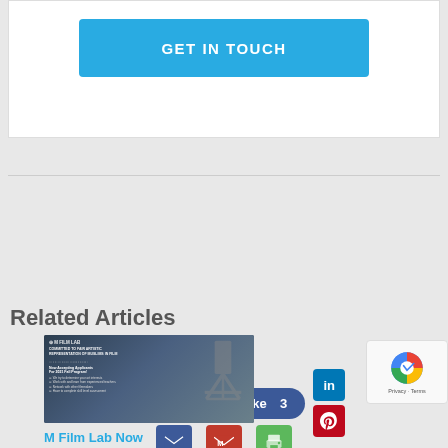[Figure (screenshot): GET IN TOUCH blue button inside a white card]
[Figure (screenshot): Social sharing buttons: Tweet, Like 3, LinkedIn, Pinterest, Email, Gmail, Print]
Related Articles
[Figure (screenshot): Thumbnail image for M Film Lab article showing camera equipment and text about representing Muslims in film]
M Film Lab Now